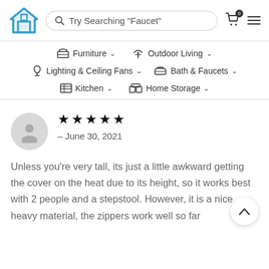Try Searching "Faucet"
Furniture
Outdoor Living
Lighting & Ceiling Fans
Bath & Faucets
Kitchen
Home Storage
– June 30, 2021
Unless you're very tall, its just a little awkward getting the cover on the heat due to its height, so it works best with 2 people and a stepstool. However, it is a nice heavy material, the zippers work well so far